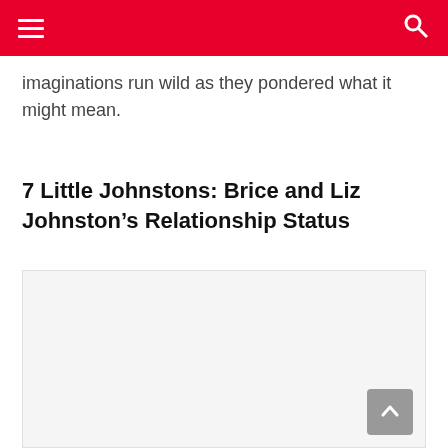imaginations run wild as they pondered what it might mean.
7 Little Johnstons: Brice and Liz Johnston's Relationship Status
[Figure (other): White rectangular image placeholder area]